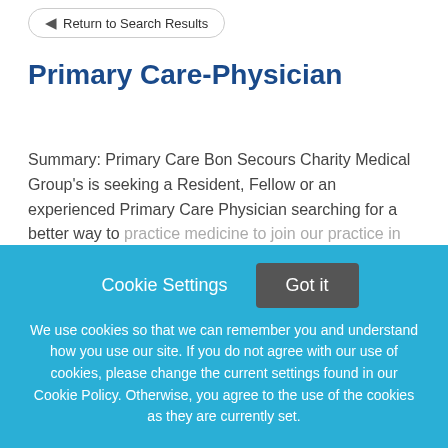← Return to Search Results
Primary Care-Physician
Summary: Primary Care Bon Secours Charity Medical Group's is seeking a Resident, Fellow or an experienced Primary Care Physician searching for a better way to practice medicine to join our practice in Rockland County,
This job listing is no longer active.
Cookie Settings   Got it
We use cookies so that we can remember you and understand how you use our site. If you do not agree with our use of cookies, please change the current settings found in our Cookie Policy. Otherwise, you agree to the use of the cookies as they are currently set.